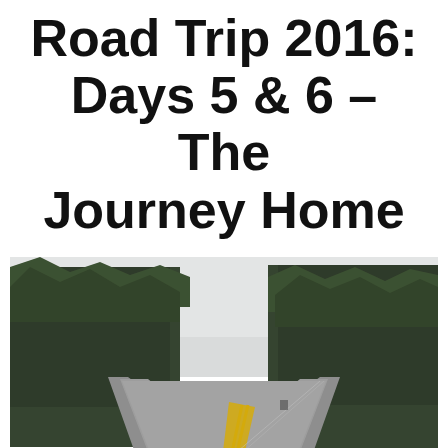Road Trip 2016: Days 5 & 6 – The Journey Home
[Figure (photo): A car dashboard view of a two-lane highway stretching into the distance, flanked on both sides by tall evergreen pine trees. The road has a yellow center line and the sky is overcast and pale. The road curves slightly to the right in the distance.]